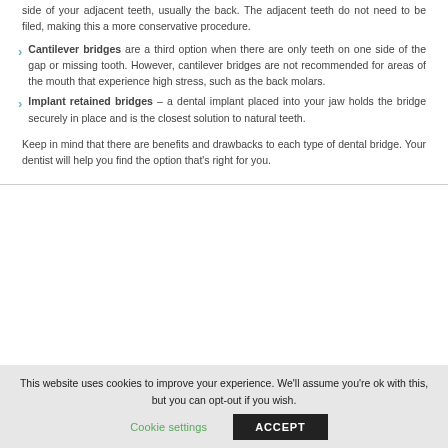side of your adjacent teeth, usually the back. The adjacent teeth do not need to be filed, making this a more conservative procedure.
Cantilever bridges are a third option when there are only teeth on one side of the gap or missing tooth. However, cantilever bridges are not recommended for areas of the mouth that experience high stress, such as the back molars.
Implant retained bridges – a dental implant placed into your jaw holds the bridge securely in place and is the closest solution to natural teeth.
Keep in mind that there are benefits and drawbacks to each type of dental bridge. Your dentist will help you find the option that's right for you.
This website uses cookies to improve your experience. We'll assume you're ok with this, but you can opt-out if you wish.